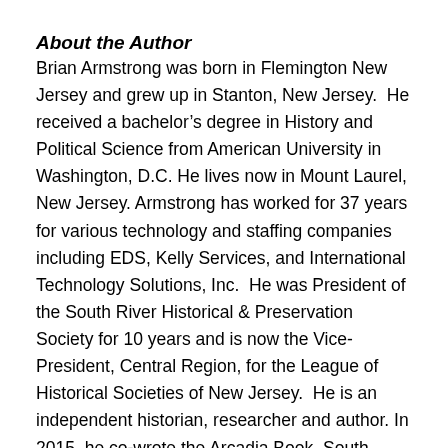About the Author
Brian Armstrong was born in Flemington New Jersey and grew up in Stanton, New Jersey.  He received a bachelor's degree in History and Political Science from American University in Washington, D.C. He lives now in Mount Laurel, New Jersey. Armstrong has worked for 37 years for various technology and staffing companies including EDS, Kelly Services, and International Technology Solutions, Inc.  He was President of the South River Historical & Preservation Society for 10 years and is now the Vice-President, Central Region, for the League of Historical Societies of New Jersey.  He is an independent historian, researcher and author. In 2015, he co-wrote the Arcadia Book, South River, with Stephanie Bartz and Nan Whitehead. He also frequently writes articles for the Bar